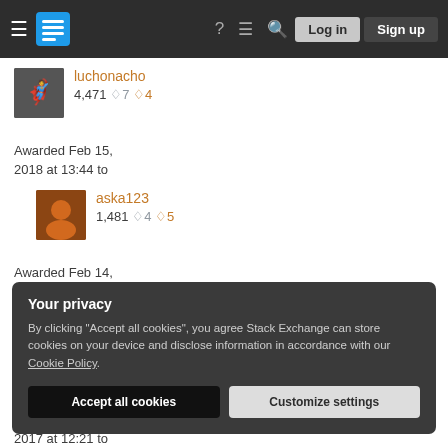Stack Exchange navigation bar with hamburger menu, logo, help, chat, search icons, Log in and Sign up buttons
luchonacho
4,471 ◇7 ◇4
Awarded Feb 15, 2018 at 13:44 to
aska123
1,481 ◇4 ◇5
Awarded Feb 14, 2018 at 21:40 to
PyRulez
1,203 ◇5 ◇6
Your privacy
By clicking "Accept all cookies", you agree Stack Exchange can store cookies on your device and disclose information in accordance with our Cookie Policy.
Accept all cookies    Customize settings
2017 at 12:21 to